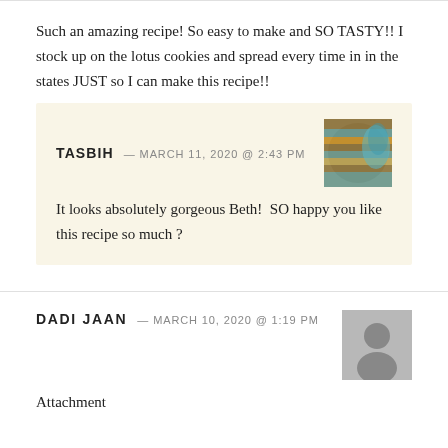Such an amazing recipe! So easy to make and SO TASTY!! I stock up on the lotus cookies and spread every time in in the states JUST so I can make this recipe!!
TASBIH — MARCH 11, 2020 @ 2:43 PM
It looks absolutely gorgeous Beth!  SO happy you like this recipe so much ?
DADI JAAN — MARCH 10, 2020 @ 1:19 PM
Attachment